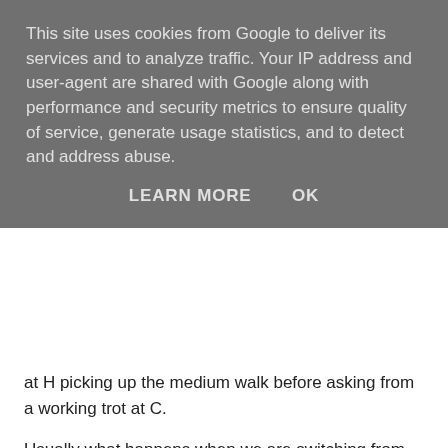This site uses cookies from Google to deliver its services and to analyze traffic. Your IP address and user-agent are shared with Google along with performance and security metrics to ensure quality of service, generate usage statistics, and to detect and address abuse.
LEARN MORE   OK
at H picking up the medium walk before asking from a working trot at C.
Usually what happens when we are switching from our free walk to medium walk at H, Hattie gets excited as she knows the trot is coming up, head up in the air, ears forward and then goes on the forehand in trot at C before I can correct her as we are going round the corner after C.
Today, I worked on getting her to walk more forward in the free walk by tapping FIRMLY with my left leg and reminder taps with my "right leg"- the schooling whip as well as using my voice to ask her to "walk on" (can't say this too loudly in the test however!). If I get her walking forward in the free walk, then she already has the impulsion when we go to